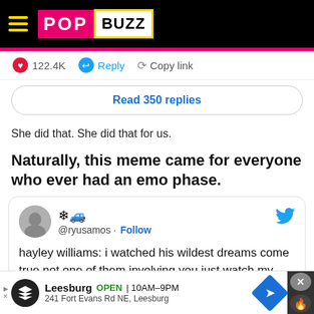PopBuzz
122.4K   Reply   Copy link
Read 350 replies
She did that. She did that for us.
Naturally, this meme came for everyone who ever had an emo phase.
[Figure (screenshot): Tweet from @ryusamos with emoji icons and Twitter bird logo. Text reads: hayley williams: i watched his wildest dreams come true not one of them involving you just watch my wildest dreams come true not one of the[m]]
Leesburg  OPEN  10AM-9PM  241 Fort Evans Rd NE, Leesburg